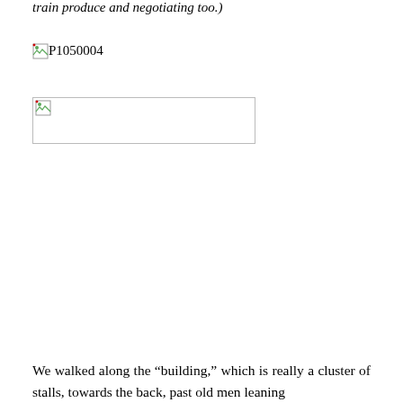train produce and negotiating too.)
[Figure (photo): Broken image placeholder labeled P1050004]
[Figure (photo): Broken image placeholder, rectangular, no label]
We walked along the “building,” which is really a cluster of stalls, towards the back, past old men leaning